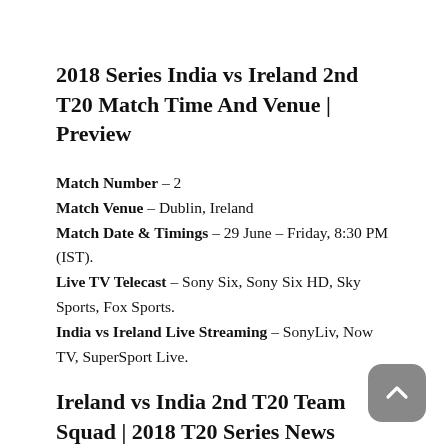2018 Series India vs Ireland 2nd T20 Match Time And Venue | Preview
Match Number – 2
Match Venue – Dublin, Ireland
Match Date & Timings – 29 June – Friday, 8:30 PM (IST).
Live TV Telecast – Sony Six, Sony Six HD, Sky Sports, Fox Sports.
India vs Ireland Live Streaming – SonyLiv, Now TV, SuperSport Live.
Ireland vs India 2nd T20 Team Squad | 2018 T20 Series News